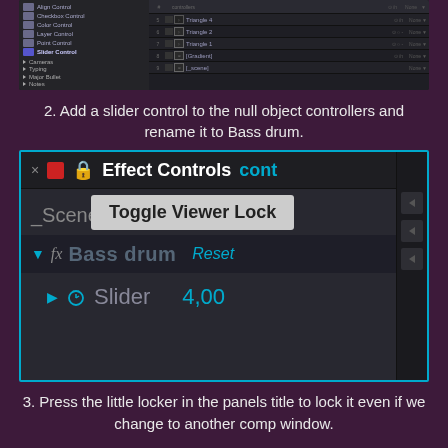[Figure (screenshot): Screenshot of Adobe After Effects timeline and layers panel showing triangle layers and controllers]
2. Add a slider control to the null object controllers and rename it to Bass drum.
[Figure (screenshot): Screenshot of Adobe After Effects Effect Controls panel showing 'Bass drum' effect with Slider value 4,00 and a 'Toggle Viewer Lock' tooltip visible over a lock icon]
3. Press the little locker in the panels title to lock it even if we change to another comp window.